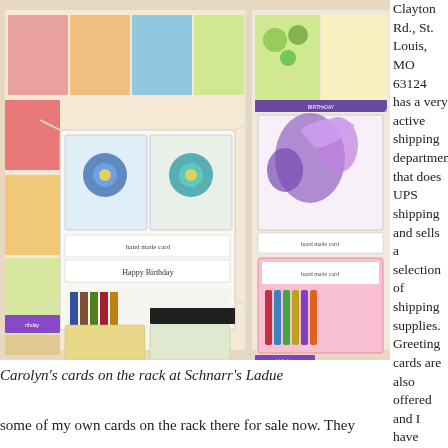[Figure (photo): Photo of handmade greeting cards displayed on a wire rack at Schnarr's Ladue store. Two card display racks visible side by side, featuring birthday cards and handmade cards with floral and illustrated designs. Cards have labels reading 'hand made card' and 'Happy Birthday'. Background shows colorful greeting card displays.]
Carolyn's cards on the rack at Schnarr's Ladue
Clayton Rd., St. Louis, MO 63124 has a very active shipping department that does UPS shipping and sells a selection of shipping supplies. Greeting cards are also offered and I have some of my own cards on the rack there for sale now. They
some of my own cards on the rack there for sale now. They